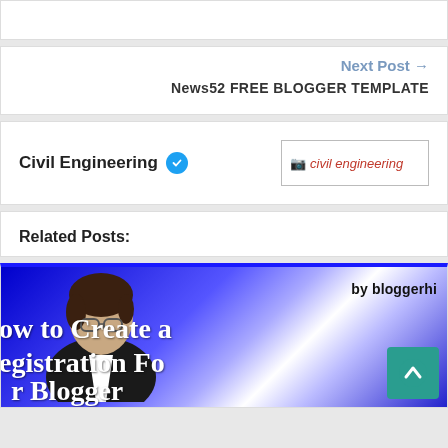Next Post →
News52 FREE BLOGGER TEMPLATE
Civil Engineering ✓
[Figure (photo): Broken image placeholder for civil engineering]
Related Posts:
[Figure (photo): Blog post thumbnail showing a person with glasses, blue background, text reading 'by bloggerhint', 'How to Create a Registration Form in Blogger']